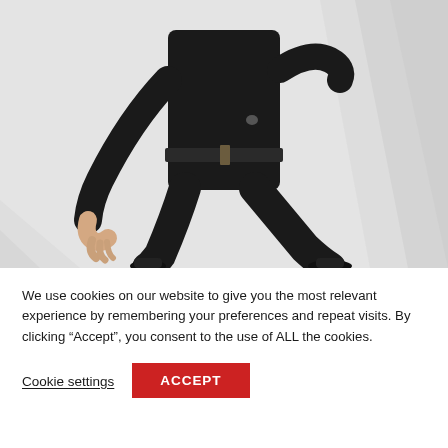[Figure (photo): A person wearing a black workwear jumpsuit/coverall with a belt, leaning forward with one arm extended outward, photographed against a light grey background with decorative chevron shapes.]
We use cookies on our website to give you the most relevant experience by remembering your preferences and repeat visits. By clicking “Accept”, you consent to the use of ALL the cookies.
Cookie settings
ACCEPT